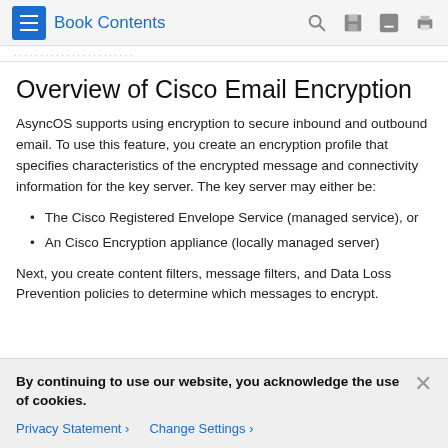Book Contents
Overview of Cisco Email Encryption
AsyncOS supports using encryption to secure inbound and outbound email. To use this feature, you create an encryption profile that specifies characteristics of the encrypted message and connectivity information for the key server. The key server may either be:
The Cisco Registered Envelope Service (managed service), or
An Cisco Encryption appliance (locally managed server)
Next, you create content filters, message filters, and Data Loss Prevention policies to determine which messages to encrypt.
By continuing to use our website, you acknowledge the use of cookies.
Privacy Statement > Change Settings >